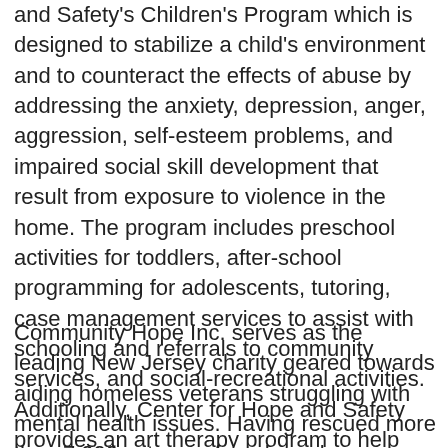and Safety's Children's Program which is designed to stabilize a child's environment and to counteract the effects of abuse by addressing the anxiety, depression, anger, aggression, self-esteem problems, and impaired social skill development that result from exposure to violence in the home. The program includes preschool activities for toddlers, after-school programming for adolescents, tutoring, case management services to assist with schooling and referrals to community services, and social-recreational activities. Additionally, Center for Hope and Safety provides an art therapy program to help children who have experienced chaotic circumstances adjust to a new environment as they come to the Safe House.
Community Hope Inc. serves as the leading New Jersey charity geared towards aiding homeless veterans struggling with mental health issues. Having rescued more than 7,000 veterans from homelessness and poverty over the past 15 years, the organization is firmly committed to